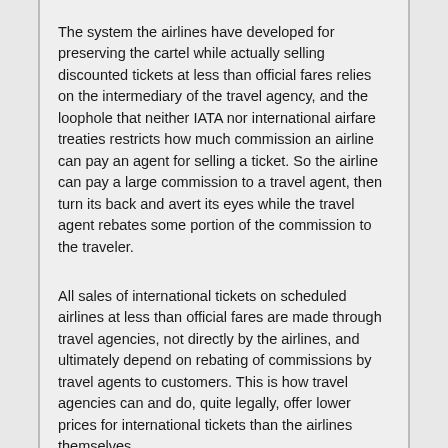The system the airlines have developed for preserving the cartel while actually selling discounted tickets at less than official fares relies on the intermediary of the travel agency, and the loophole that neither IATA nor international airfare treaties restricts how much commission an airline can pay an agent for selling a ticket. So the airline can pay a large commission to a travel agent, then turn its back and avert its eyes while the travel agent rebates some portion of the commission to the traveler.
All sales of international tickets on scheduled airlines at less than official fares are made through travel agencies, not directly by the airlines, and ultimately depend on rebating of commissions by travel agents to customers. This is how travel agencies can and do, quite legally, offer lower prices for international tickets than the airlines themselves.
Airlines know what is happening, of course, but they have to pretend they don't. In order to maintain plausible